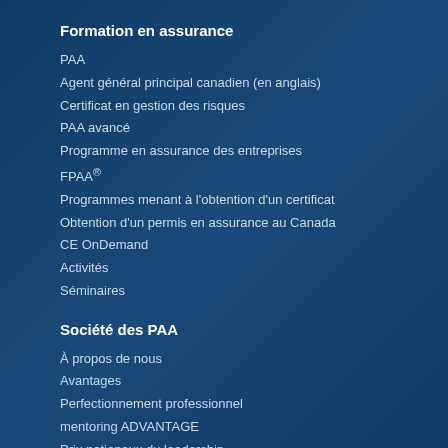Formation en assurance
PAA
Agent général principal canadien (en anglais)
Certificat en gestion des risques
PAA avancé
Programme en assurance des entreprises
FPAA®
Programmes menant à l'obtention d'un certificat
Obtention d'un permis en assurance au Canada
CE OnDemand
Activités
Séminaires
Société des PAA
À propos de nous
Avantages
Perfectionnement professionnel
mentoring ADVANTAGE
Prix nationaux du leadership
Services d'information
Réseautage
À propos de l'Institut